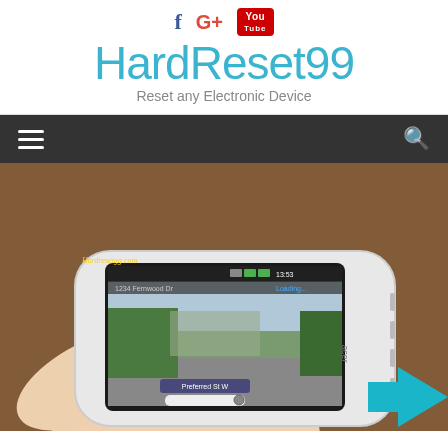HardReset99 - Reset any Electronic Device
[Figure (screenshot): Website header with Facebook, G+, YouTube social icons, site title HardReset99 in teal, subtitle Reset any Electronic Device, dark navigation bar with hamburger menu and search icon, and a photo of a person holding an Acer touchscreen device showing Google Street View, with Hardresetgg.com watermark and teal chevron in bottom right corner]